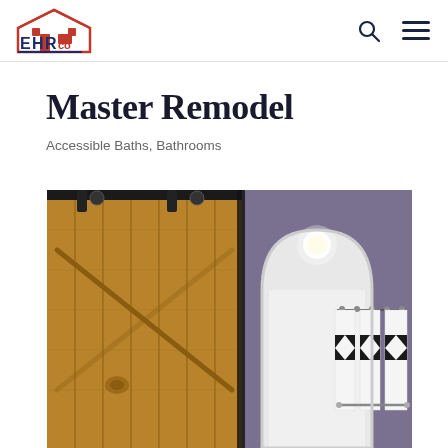[Figure (logo): EHRco logo with house icon in red and blue, text EHR in blue with red accents and 'co' in red]
Master Remodel
Accessible Baths, Bathrooms
[Figure (photo): Interior bathroom remodel photo showing a wooden barn-style sliding door on black metal track rail on the left, and an arched doorway leading to a white bathroom with curtained shower visible on the right, purple-toned walls]